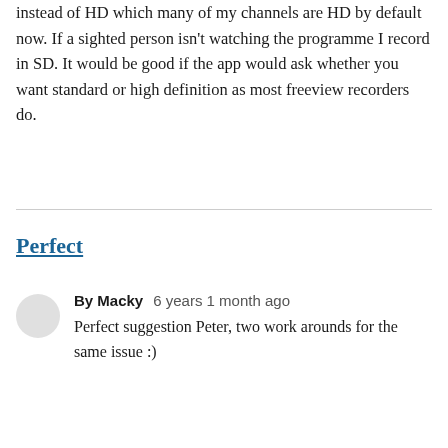instead of HD which many of my channels are HD by default now. If a sighted person isn't watching the programme I record in SD. It would be good if the app would ask whether you want standard or high definition as most freeview recorders do.
Perfect
By Macky   6 years 1 month ago
Perfect suggestion Peter, two work arounds for the same issue :)